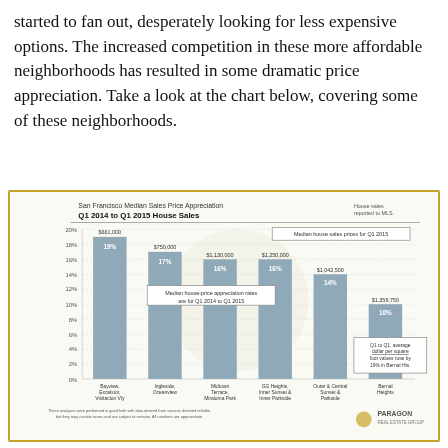started to fan out, desperately looking for less expensive options. The increased competition in these more affordable neighborhoods has resulted in some dramatic price appreciation. Take a look at the chart below, covering some of these neighborhoods.
[Figure (bar-chart): San Francisco Median Sales Price Appreciation Q1 2014 to Q1 2015 House Sales]